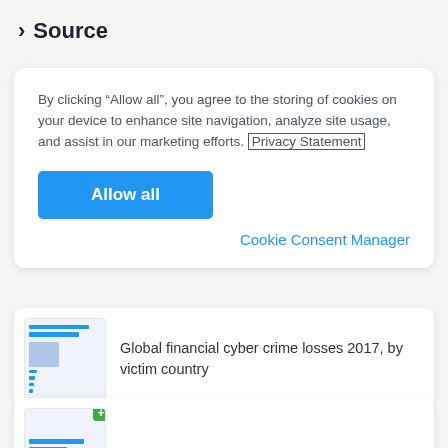> Source
By clicking “Allow all”, you agree to the storing of cookies on your device to enhance site navigation, analyze site usage, and assist in our marketing efforts. Privacy Statement
Allow all
Cookie Consent Manager
[Figure (screenshot): Thumbnail of a bar chart showing global financial cyber crime losses]
Global financial cyber crime losses 2017, by victim country
[Figure (screenshot): Thumbnail of a bar chart with a green plus badge]